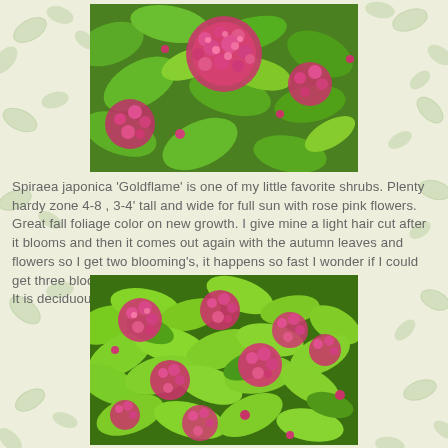[Figure (photo): Close-up photo of Spiraea japonica Goldflame shrub showing bright pink flower clusters against vivid green foliage]
Spiraea japonica 'Goldflame' is one of my little favorite shrubs.  Plenty hardy zone 4-8 , 3-4' tall and wide for full sun with rose pink flowers.  Great fall foliage color on new growth. I give mine a light hair cut after it blooms and then it comes out again with the autumn leaves and flowers so I get two blooming's, it happens so fast I wonder if I could get three blooming's.
It is deciduous , not an evergreen plant.
[Figure (photo): Wide shot of Spiraea japonica Goldflame shrub covered in pink flower clusters with bright chartreuse-green leaves]